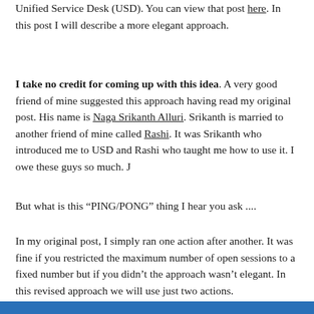Unified Service Desk (USD). You can view that post here. In this post I will describe a more elegant approach.
I take no credit for coming up with this idea. A very good friend of mine suggested this approach having read my original post. His name is Naga Srikanth Alluri. Srikanth is married to another friend of mine called Rashi. It was Srikanth who introduced me to USD and Rashi who taught me how to use it. I owe these guys so much. J
But what is this “PING/PONG” thing I hear you ask ....
In my original post, I simply ran one action after another. It was fine if you restricted the maximum number of open sessions to a fixed number but if you didn’t the approach wasn’t elegant. In this revised approach we will use just two actions.